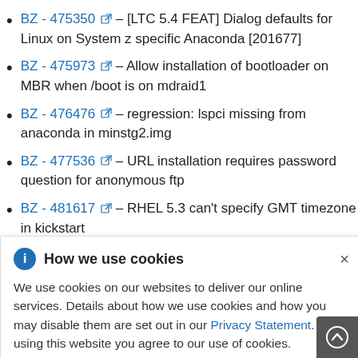BZ - 475350 [external link] - [LTC 5.4 FEAT] Dialog defaults for Linux on System z specific Anaconda [201677]
BZ - 475973 [external link] - Allow installation of bootloader on MBR when /boot is on mdraid1
BZ - 476476 [external link] - regression: lspci missing from anaconda in minstg2.img
BZ - 477536 [external link] - URL installation requires password question for anonymous ftp
BZ - 481617 [external link] - RHEL 5.3 can't specify GMT timezone in kickstart
How we use cookies
We use cookies on our websites to deliver our online services. Details about how we use cookies and how you may disable them are set out in our Privacy Statement. By using this website you agree to our use of cookies.
BZ - 498511 [external link] - Update RHEL5.4 Anaconda to